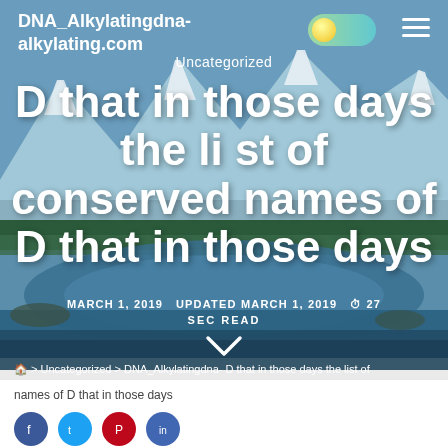DNA_Alkylatingdna-alkylating.com
Uncategorized
D that in those days the list of conserved names of D that in those days
MARCH 1, 2019   UPDATED MARCH 1, 2019   ⏱ 27 SEC READ
🏠 > Uncategorized > DNA_Alkylatingdna- D that in those days the list of
names of D that in those days
[Figure (illustration): Mountain landscape with river and snow-capped peaks as hero background image]